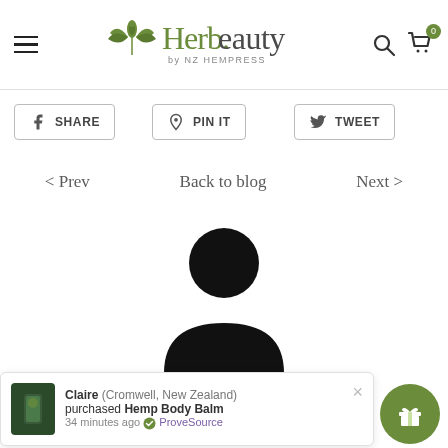Herb.beauty by NZ HEMPRESS — navigation header with hamburger menu, logo, search and cart icons
SHARE
PIN IT
TWEET
< Prev   Back to blog   Next >
[Figure (illustration): Black silhouette of a generic user avatar (head and shoulders)]
Nick Smith
Claire (Cromwell, New Zealand) purchased Hemp Body Balm 34 minutes ago  ProveSource